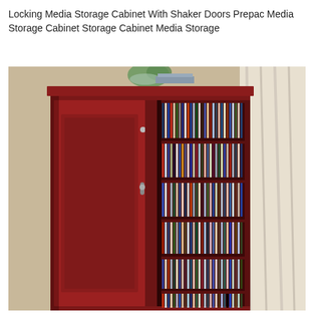Locking Media Storage Cabinet With Shaker Doors Prepac Media Storage Cabinet Storage Cabinet Media Storage
[Figure (photo): A large dark cherry/burgundy red locking media storage cabinet with shaker-style doors. One door is open and one is ajar, revealing multiple shelves packed with CDs and DVDs. A plant and books are on top of the cabinet. The cabinet is set against a light beige wall with a curtain visible on the right side.]